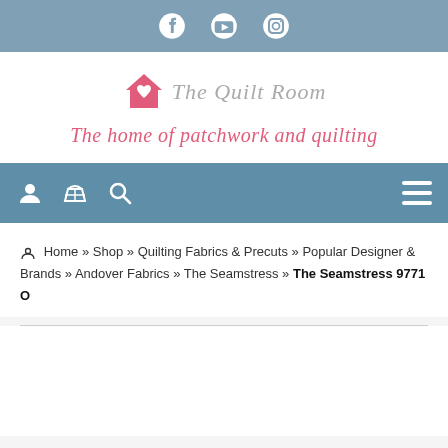Social media icons: Facebook, YouTube, Instagram
[Figure (logo): The Quilt Room logo with house/heart icon and cursive text]
The home of patchwork and quilting
[Figure (infographic): Navigation bar with user, basket, search icons and hamburger menu]
Home » Shop » Quilting Fabrics & Precuts » Popular Designer & Brands » Andover Fabrics » The Seamstress » The Seamstress 9771 O